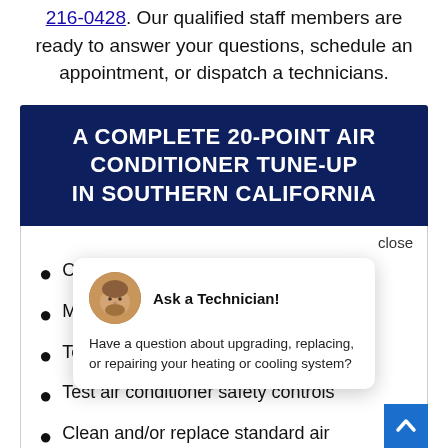216-0428. Our qualified staff members are ready to answer your questions, schedule an appointment, or dispatch a technicians.
A COMPLETE 20-POINT AIR CONDITIONER TUNE-UP IN SOUTHERN CALIFORNIA
close
Check the…
Monitor re…
Test AC sta…
Test air conditioner safety controls
Clean and/or replace standard air filters
[Figure (infographic): Popup chat widget showing a technician avatar with heading 'Ask a Technician!' and text 'Have a question about upgrading, replacing, or repairing your heating or cooling system?']